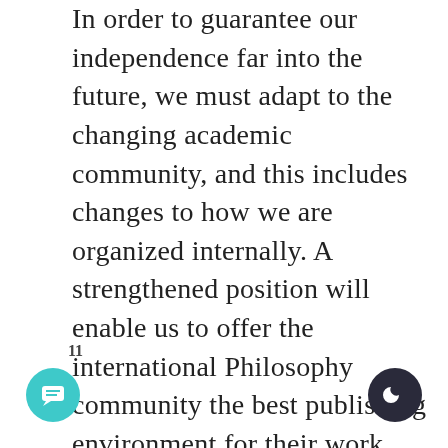In order to guarantee our independence far into the future, we must adapt to the changing academic community, and this includes changes to how we are organized internally. A strengthened position will enable us to offer the international Philosophy community the best publishing environment for their work. As one of the few independent publishers in Philosophy and the Humanities and Social Sciences, we are determined to maintain our key role in academic discourse. We encourage you to support us in this endeavor by continuing to entrust us with your valuable scholarly
11